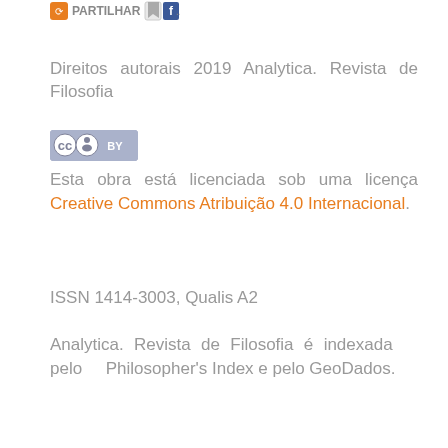[Figure (logo): PARTILHAR social sharing button with bookmark and Facebook icons]
Direitos autorais 2019 Analytica. Revista de Filosofia
[Figure (logo): Creative Commons BY license badge]
Esta obra está licenciada sob uma licença Creative Commons Atribuição 4.0 Internacional.
ISSN 1414-3003, Qualis A2
Analytica. Revista de Filosofia é indexada pelo Philosopher's Index e pelo GeoDados.